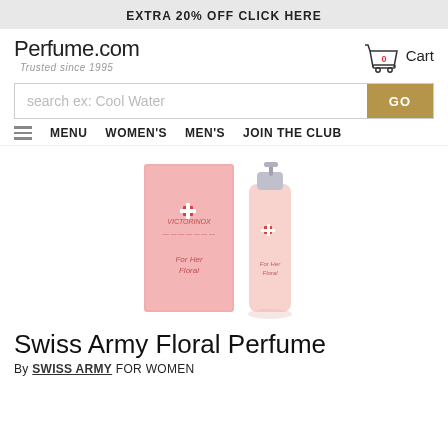EXTRA 20% OFF CLICK HERE
[Figure (logo): Perfume.com logo with 'Trusted since 1995' tagline]
[Figure (screenshot): Shopping cart icon showing 0 items with Cart label]
[Figure (screenshot): Search bar with placeholder 'search ex: Cool Water' and GO button]
[Figure (screenshot): Navigation bar with hamburger menu, MENU, WOMEN'S, MEN'S, JOIN THE CLUB links]
[Figure (photo): Swiss Army For Her Floral perfume bottle and pink box product photo]
Swiss Army Floral Perfume
By SWISS ARMY FOR WOMEN